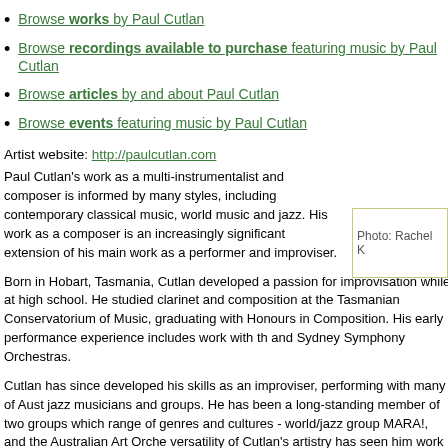Browse works by Paul Cutlan
Browse recordings available to purchase featuring music by Paul Cutlan
Browse articles by and about Paul Cutlan
Browse events featuring music by Paul Cutlan
Artist website: http://paulcutlan.com
[Figure (photo): Photo credit box: Photo: Rachel K]
Paul Cutlan’s work as a multi-instrumentalist and composer is informed by many styles, including contemporary classical music, world music and jazz. His work as a composer is an increasingly significant extension of his main work as a performer and improviser.
Born in Hobart, Tasmania, Cutlan developed a passion for improvisation while at high school. He studied clarinet and composition at the Tasmanian Conservatorium of Music, graduating with Honours in Composition. His early performance experience includes work with the and Sydney Symphony Orchestras.
Cutlan has since developed his skills as an improviser, performing with many of Australia’s jazz musicians and groups. He has been a long-standing member of two groups which range of genres and cultures - world/jazz group MARA!, and the Australian Art Orchestra. versatility of Cutlan's artistry has seen him work on productions for Belvoir, Sydney Theatre Company, Gurrumul, Australian Chamber Orchestra and Ensemble Offspring.
Cutlan’s first major commission was as composer and musical director of a cabaret...